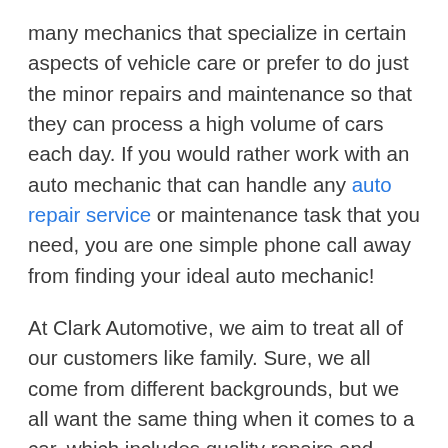many mechanics that specialize in certain aspects of vehicle care or prefer to do just the minor repairs and maintenance so that they can process a high volume of cars each day. If you would rather work with an auto mechanic that can handle any auto repair service or maintenance task that you need, you are one simple phone call away from finding your ideal auto mechanic!
At Clark Automotive, we aim to treat all of our customers like family. Sure, we all come from different backgrounds, but we all want the same thing when it comes to a car, which includes quality repairs and affordable prices. Another key feature about our certified auto mechanics is that we only address true issues. Misleading customers into paying for repairs that aren't truly necessary is not the way that we do business. No matter how big or